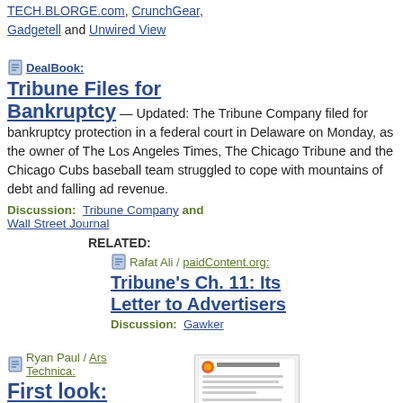TECH.BLORGE.com, CrunchGear, Gadgetell and Unwired View
DealBook:
Tribune Files for Bankruptcy
— Updated: The Tribune Company filed for bankruptcy protection in a federal court in Delaware on Monday, as the owner of The Los Angeles Times, The Chicago Tribune and the Chicago Cubs baseball team struggled to cope with mountains of debt and falling ad revenue.
Discussion: Tribune Company and Wall Street Journal
RELATED:
Rafat Ali / paidContent.org:
Tribune's Ch. 11: Its Letter to Advertisers
Discussion: Gawker
Ryan Paul / Ars Technica:
First look: Firefox 3.1
[Figure (screenshot): Screenshot of Firefox Private Browsing dialog window]